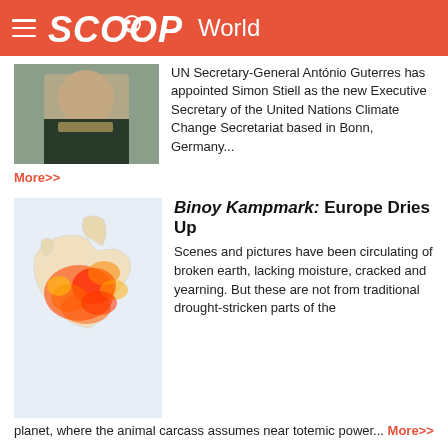SCOOP World
UN Secretary-General António Guterres has appointed Simon Stiell as the new Executive Secretary of the United Nations Climate Change Secretariat based in Bonn, Germany...
More>>
[Figure (photo): Portrait of a man in suit]
Binoy Kampmark: Europe Dries Up
[Figure (map): Map of Europe showing drought/dryness in orange and red heat map overlay]
Scenes and pictures have been circulating of broken earth, lacking moisture, cracked and yearning. But these are not from traditional drought-stricken parts of the planet, where the animal carcass assumes near totemic power... More>>
Afghanistan: One Year On From Regime Change And Children Face An Unimaginable A Crisis
[Figure (photo): Young girl wearing green headscarf]
On the one-year anniversary of regime